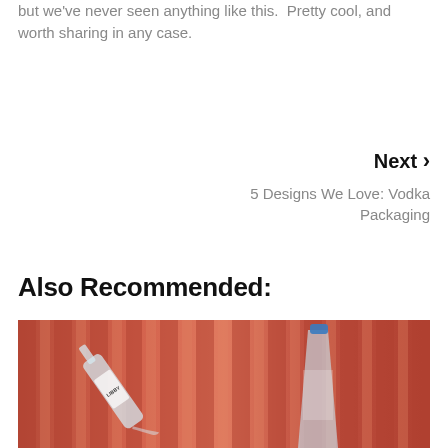but we've never seen anything like this.  Pretty cool, and worth sharing in any case.
Next ›
5 Designs We Love: Vodka Packaging
Also Recommended:
[Figure (photo): Two glass bottles (one labeled LIBBY) being poured against a warm copper/red corrugated background]